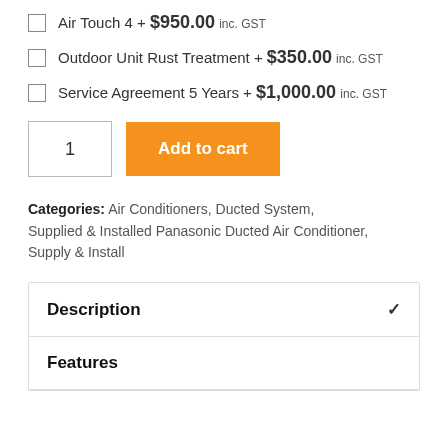Air Touch 4 + $950.00 inc. GST
Outdoor Unit Rust Treatment + $350.00 inc. GST
Service Agreement 5 Years + $1,000.00 inc. GST
1  Add to cart
Categories: Air Conditioners, Ducted System, Supplied & Installed Panasonic Ducted Air Conditioner, Supply & Install
Description ✓
Features